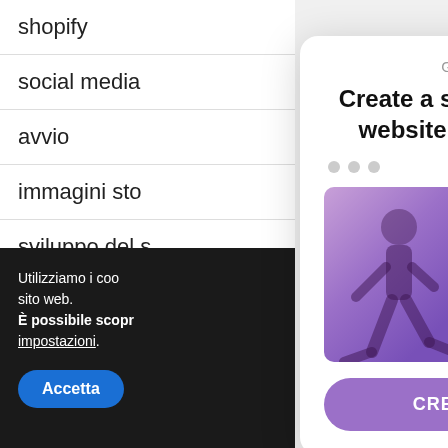shopify
social media
avvio
immagini sto…
sviluppo del s…
wordpress
Utilizziamo i coo… sito web. È possibile scopr… impostazioni.
Accetta
[Figure (screenshot): A slide-in popup widget showing title 'Create a slide-in popup for your website like this one for free', navigation dots, a preview popup with a runner image and form fields with 'SIGN ME UP!' button, and a 'CREATE YOUR POPUP' button in purple.]